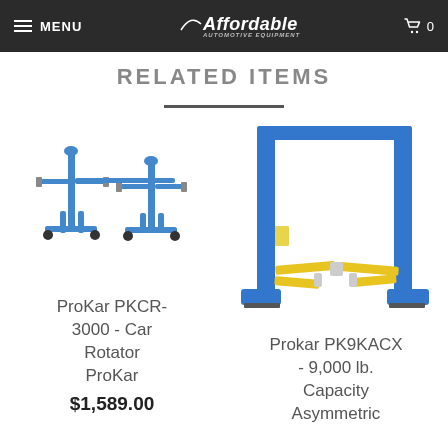MENU | Affordable Automotive Equipment | 0
RELATED ITEMS
[Figure (illustration): Blue car rotator stand with adjustable arms and wheels, two parallel tripod supports connected by a central bar.]
ProKar PKCR-3000 - Car Rotator ProKar
$1,589.00
[Figure (illustration): Blue two-post asymmetric car lift with yellow swing arms at the base.]
Prokar PK9KACX - 9,000 lb. Capacity Asymmetric